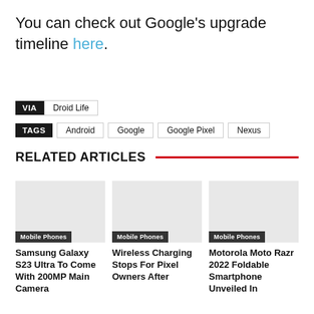You can check out Google's upgrade timeline here.
VIA  Droid Life
TAGS  Android  Google  Google Pixel  Nexus
RELATED ARTICLES
[Figure (photo): Placeholder image for Samsung Galaxy S23 Ultra article]
Mobile Phones
Samsung Galaxy S23 Ultra To Come With 200MP Main Camera
[Figure (photo): Placeholder image for Wireless Charging article]
Mobile Phones
Wireless Charging Stops For Pixel Owners After
[Figure (photo): Placeholder image for Motorola Moto Razr 2022 article]
Mobile Phones
Motorola Moto Razr 2022 Foldable Smartphone Unveiled In